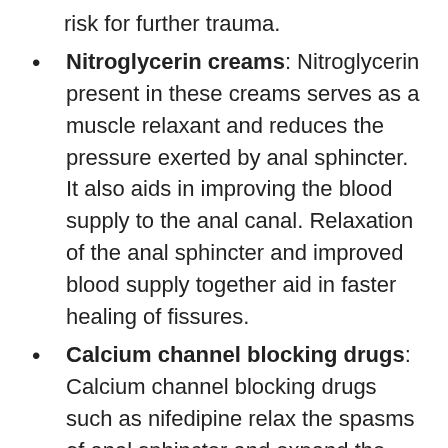risk for further trauma.
Nitroglycerin creams: Nitroglycerin present in these creams serves as a muscle relaxant and reduces the pressure exerted by anal sphincter. It also aids in improving the blood supply to the anal canal. Relaxation of the anal sphincter and improved blood supply together aid in faster healing of fissures.
Calcium channel blocking drugs: Calcium channel blocking drugs such as nifedipine relax the spasms of anal sphincter and expand the blood vessels. This increases blood supply to anal canal and promotes faster